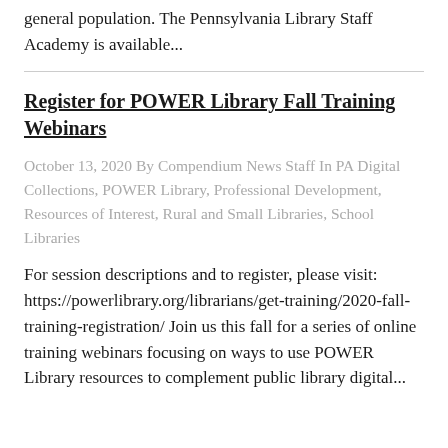general population. The Pennsylvania Library Staff Academy is available...
Register for POWER Library Fall Training Webinars
October 13, 2020 By Compendium News Staff In PA Digital Collections, POWER Library, Professional Development, Resources of Interest, Rural and Small Libraries, School Libraries
For session descriptions and to register, please visit: https://powerlibrary.org/librarians/get-training/2020-fall-training-registration/ Join us this fall for a series of online training webinars focusing on ways to use POWER Library resources to complement public library digital...